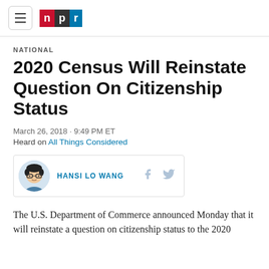npr
NATIONAL
2020 Census Will Reinstate Question On Citizenship Status
March 26, 2018 · 9:49 PM ET
Heard on All Things Considered
HANSI LO WANG
The U.S. Department of Commerce announced Monday that it will reinstate a question on citizenship status to the 2020